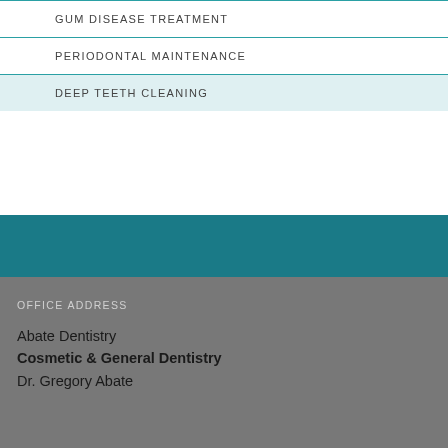GUM DISEASE TREATMENT
PERIODONTAL MAINTENANCE
DEEP TEETH CLEANING
OFFICE ADDRESS
Abate Dentistry
Cosmetic & General Dentistry
Dr. Gregory Abate